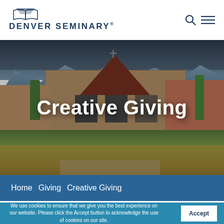DENVER SEMINARY.
[Figure (photo): Aerial/ground-level photo of Denver Seminary campus buildings with mountains in background, tall grasses and landscaping in foreground]
Creative Giving
Home   Giving   Creative Giving
We use cookies to ensure that we give you the best experience on our website. Please click the Accept button to acknowledge the use of cookies on our site.